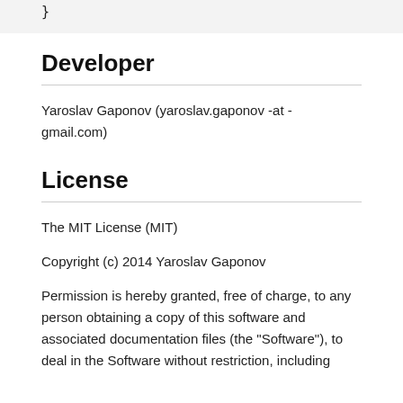}
Developer
Yaroslav Gaponov (yaroslav.gaponov -at - gmail.com)
License
The MIT License (MIT)
Copyright (c) 2014 Yaroslav Gaponov
Permission is hereby granted, free of charge, to any person obtaining a copy of this software and associated documentation files (the "Software"), to deal in the Software without restriction, including